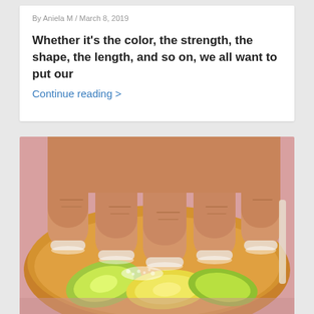By Aniela M / March 8, 2019
Whether it's the color, the strength, the shape, the length, and so on, we all want to put our
Continue reading >
[Figure (photo): Hands with fingers soaking nails in a bowl filled with citrus slices (lemon, lime) and liquid, placed on a pink surface]